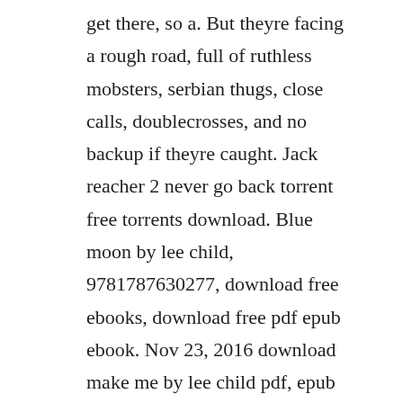get there, so a. But theyre facing a rough road, full of ruthless mobsters, serbian thugs, close calls, doublecrosses, and no backup if theyre caught. Jack reacher 2 never go back torrent free torrents download. Blue moon by lee child, 9781787630277, download free ebooks, download free pdf epub ebook. Nov 23, 2016 download make me by lee child pdf, epub free read online. After collecting each and every jack reacher books tirelessly over the years one by one from the mountainous book piles of used bookstores, and after always hearing this or that about the all powerful jack reacher,